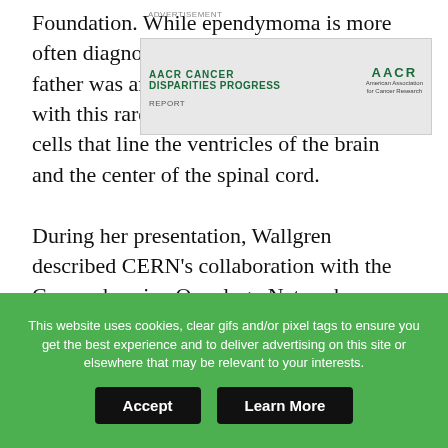Foundation. While ependymoma is more often diagnosed in children, Wallgren's father was an adult when he was diagnosed with this rare cancer, which can start in the cells that line the ventricles of the brain and the center of the spinal cord.
[Figure (other): Advertisement banner overlay showing AACR Cancer Disparities Progress report advertisement with green logo and text]
During her presentation, Wallgren described CERN's collaboration with the Comprehensive Oncology Network Evaluating Rare CNS Tumors (NCI-CONNECT), which seeks to engage with patients and to better understand rare adult central nervous system tumors. NCI-CONNECT focuses on 12 tumor types, which together represent less than 2,000
This website uses cookies, clear gifs and/or pixel tags to ensure you get the best experience and to deliver advertising on this site or elsewhere that may be relevant to your interests.